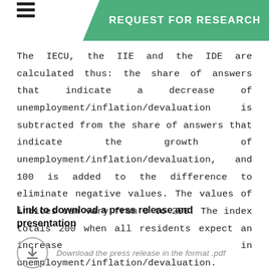REQUEST FOR RESEARCH
The IECU, the IIE and the IDE are calculated thus: the share of answers that indicate a decrease of unemployment/inflation/devaluation is subtracted from the share of answers that indicate the growth of unemployment/inflation/devaluation, and 100 is added to the difference to eliminate negative values. The values of indices can vary from 0 to 200. The index totals 200 when all residents expect an increase in unemployment/inflation/devaluation.
Link to download a press release and presentation
Download the press release in the format .pdf